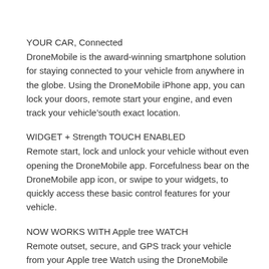YOUR CAR, Connected
DroneMobile is the award-winning smartphone solution for staying connected to your vehicle from anywhere in the globe. Using the DroneMobile iPhone app, you can lock your doors, remote start your engine, and even track your vehicle’south exact location.
WIDGET + Strength TOUCH ENABLED
Remote start, lock and unlock your vehicle without even opening the DroneMobile app. Forcefulness bear on the DroneMobile app icon, or swipe to your widgets, to quickly access these basic control features for your vehicle.
NOW WORKS WITH Apple tree WATCH
Remote outset, secure, and GPS track your vehicle from your Apple tree Watch using the DroneMobile watch app. Simply download the smartphone app and the spotter app will automatically download onto your lookout man.